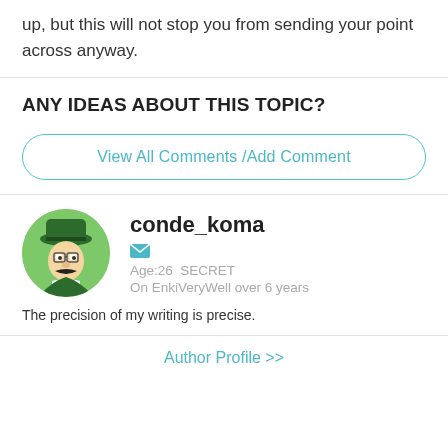up, but this will not stop you from sending your point across anyway.
ANY IDEAS ABOUT THIS TOPIC?
View All Comments /Add Comment
conde_koma
Age:26  SECRET
On EnkiVeryWell over 6 years
The precision of my writing is precise.
Author Profile >>